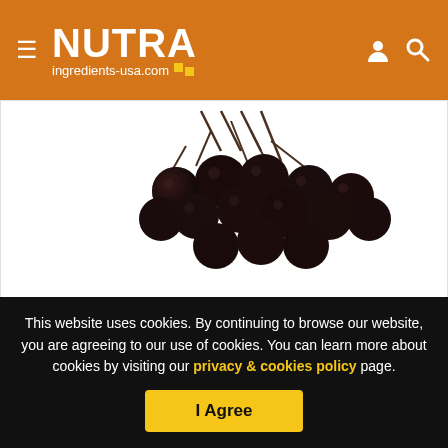NUTRA ingredients-usa.com
[Figure (photo): Cluster of dark black elderberries/chokeberries on a white background]
By Stephen Daniells
20-Sep-2011 - Last updated on 03-Sep-2013 at 23:42 GMT
RELATED TAGS: Blood
This website uses cookies. By continuing to browse our website, you are agreeing to our use of cookies. You can learn more about cookies by visiting our privacy & cookies policy page.
I Agree